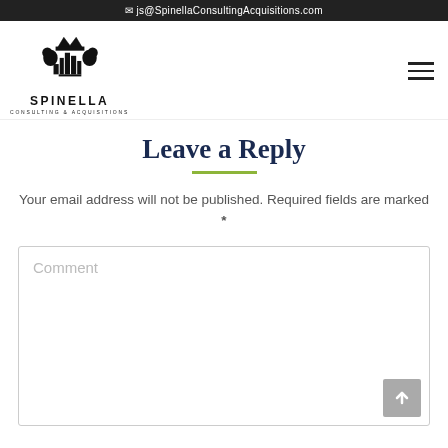js@SpinellaConsultingAcquisitions.com
[Figure (logo): Spinella Consulting & Acquisitions logo with lion and crown emblem above city skyline]
Leave a Reply
Your email address will not be published. Required fields are marked *
Comment